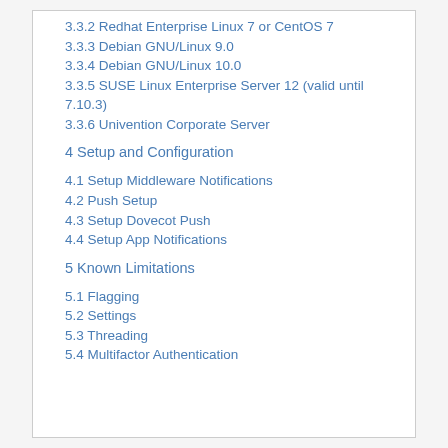3.3.2 Redhat Enterprise Linux 7 or CentOS 7
3.3.3 Debian GNU/Linux 9.0
3.3.4 Debian GNU/Linux 10.0
3.3.5 SUSE Linux Enterprise Server 12 (valid until 7.10.3)
3.3.6 Univention Corporate Server
4 Setup and Configuration
4.1 Setup Middleware Notifications
4.2 Push Setup
4.3 Setup Dovecot Push
4.4 Setup App Notifications
5 Known Limitations
5.1 Flagging
5.2 Settings
5.3 Threading
5.4 Multifactor Authentication